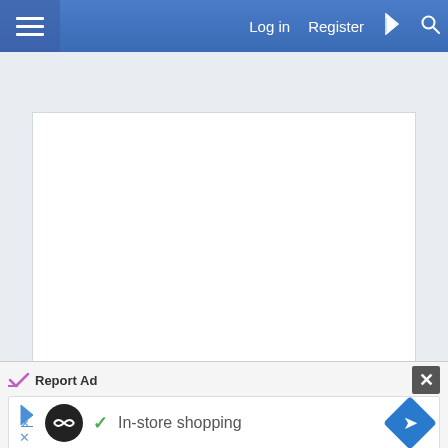Log in  Register
[Figure (screenshot): White content area placeholder with light gray background and column borders]
Report Ad
[Figure (screenshot): Advertisement banner with logo circle, checkmark, 'In-store shopping' text, and blue diamond arrow icon]